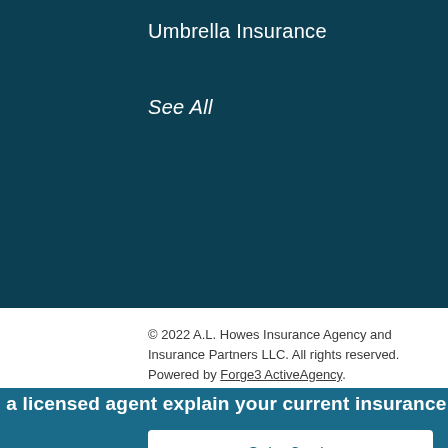Umbrella Insurance
See All
© 2022 A.L. Howes Insurance Agency and Insurance Partners LLC. All rights reserved.
Powered by Forge3 ActiveAgency.
[Figure (illustration): Social media icons row: Twitter bird, Facebook f, LinkedIn in, YouTube play button, Yelp burst icon. All in dark gray.]
[Figure (illustration): Close button: circular button with X in center, light gray background]
e a licensed agent explain your current insurance prog
Get a Quote
Client Center